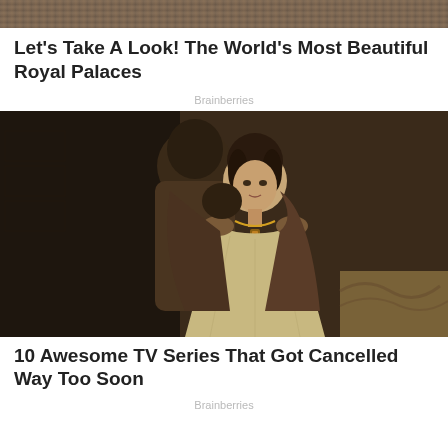[Figure (photo): Aerial or crowd photo at the top of the page, cropped banner style showing a large gathering or landscape]
Let's Take A Look! The World's Most Beautiful Royal Palaces
Brainberries
[Figure (photo): Still from a period TV drama showing a man standing behind a woman in medieval/Renaissance costumes. The man has dark hair and is leaning toward the woman who wears a gold necklace and cream dress.]
10 Awesome TV Series That Got Cancelled Way Too Soon
Brainberries